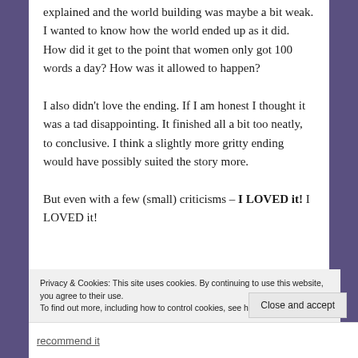explained and the world building was maybe a bit weak. I wanted to know how the world ended up as it did. How did it get to the point that women only got 100 words a day? How was it allowed to happen?
I also didn't love the ending. If I am honest I thought it was a tad disappointing. It finished all a bit too neatly, to conclusive. I think a slightly more gritty ending would have possibly suited the story more.
But even with a few (small) criticisms – I LOVED it! I LOVED it!
Privacy & Cookies: This site uses cookies. By continuing to use this website, you agree to their use.
To find out more, including how to control cookies, see here: Cookie Policy
Close and accept
recommend it